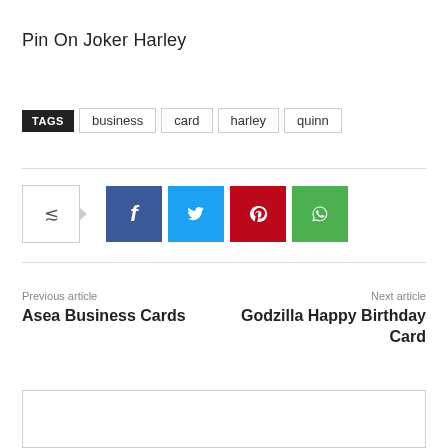Pin On Joker Harley
TAGS  business  card  harley  quinn
[Figure (infographic): Social share buttons: share toggle icon, Facebook (blue), Twitter (cyan), Pinterest (red), WhatsApp (green)]
Previous article
Asea Business Cards
Next article
Godzilla Happy Birthday Card